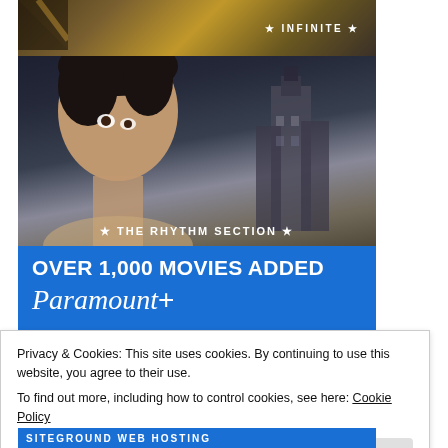[Figure (photo): Paramount+ advertisement banner showing movie stills from 'Infinite' and 'The Rhythm Section', with text 'Over 1,000 Movies Added Streaming on Paramount+']
Privacy & Cookies: This site uses cookies. By continuing to use this website, you agree to their use.
To find out more, including how to control cookies, see here: Cookie Policy
Close and accept
SITEGROUND WEB HOSTING